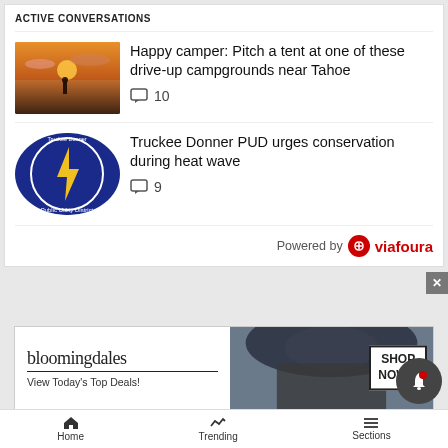ACTIVE CONVERSATIONS
Happy camper: Pitch a tent at one of these drive-up campgrounds near Tahoe
💬 10
Truckee Donner PUD urges conservation during heat wave
💬 9
Powered by viafoura
YOUR AD HERE »
[Figure (infographic): Bloomingdales advertisement banner: 'View Today's Top Deals! SHOP NOW >']
Home   Trending   Sections